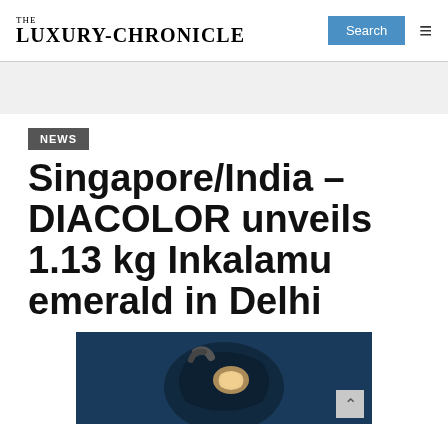THE LUXURY-CHRONICLE
NEWS
Singapore/India – DIACOLOR unveils 1.13 kg Inkalamu emerald in Delhi
[Figure (photo): Dark photo of hands holding or examining a gemstone, with blue background lighting]